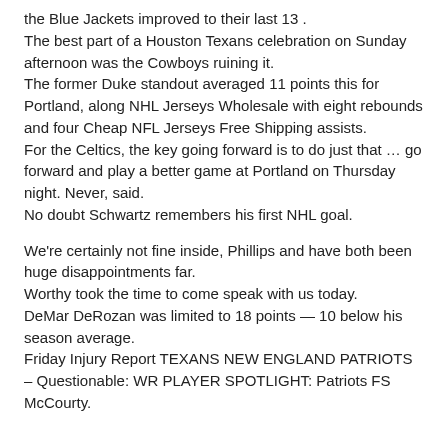the Blue Jackets improved to their last 13 .
The best part of a Houston Texans celebration on Sunday afternoon was the Cowboys ruining it.
The former Duke standout averaged 11 points this for Portland, along NHL Jerseys Wholesale with eight rebounds and four Cheap NFL Jerseys Free Shipping assists.
For the Celtics, the key going forward is to do just that … go forward and play a better game at Portland on Thursday night. Never, said.
No doubt Schwartz remembers his first NHL goal.
We're certainly not fine inside, Phillips and have both been huge disappointments far.
Worthy took the time to come speak with us today.
DeMar DeRozan was limited to 18 points — 10 below his season average.
Friday Injury Report TEXANS NEW ENGLAND PATRIOTS – Questionable: WR PLAYER SPOTLIGHT: Patriots FS McCourty.